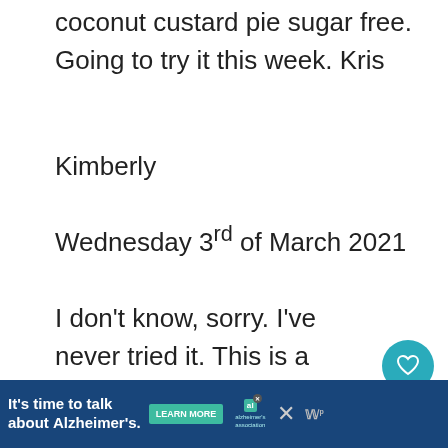coconut custard pie sugar free. Going to try it this week. Kris
Kimberly
Wednesday 3rd of March 2021
I don't know, sorry. I've never tried it. This is a recipe from my mom and we've always just made it as it is.
This site uses Akismet to reduce spam.
[Figure (other): Advertisement banner: It's time to talk about Alzheimer's. Learn More button. Alzheimer's Association logo. Close buttons.]